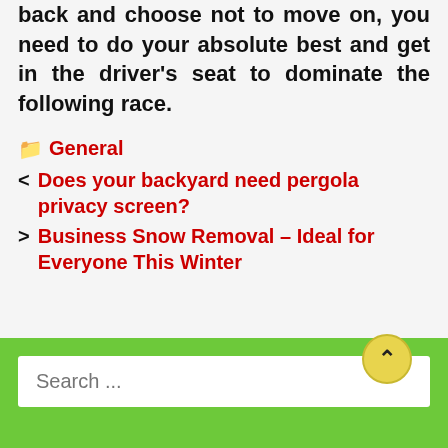back and choose not to move on, you need to do your absolute best and get in the driver's seat to dominate the following race.
📁 General
< Does your backyard need pergola privacy screen?
> Business Snow Removal – Ideal for Everyone This Winter
Search ...